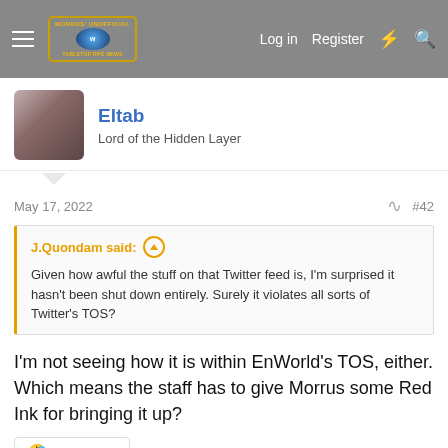Morrus' Unofficial Tabletop RPG News — Log in | Register
Eltab
Lord of the Hidden Layer
May 17, 2022  #42
J.Quondam said: ↑
Given how awful the stuff on that Twitter feed is, I'm surprised it hasn't been shut down entirely. Surely it violates all sorts of Twitter's TOS?
I'm not seeing how it is within EnWorld's TOS, either. Which means the staff has to give Morrus some Red Ink for bringing it up?
🤣 Mannahnin
Bill Zebub